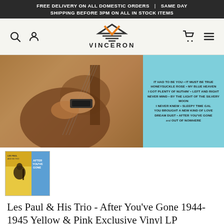FREE DELIVERY ON ALL DOMESTIC ORDERS | SAME DAY SHIPPING BEFORE 3PM ON ALL IN STOCK ITEMS
[Figure (logo): Vinceron logo with orange and dark triangle chevron above the text VINCERON]
[Figure (photo): Product hero image showing hands playing a guitar on an orange/sepia tinted background, with a cyan panel on the right listing song titles including IT HAD TO BE YOU, IT MUST BE TRUE, HONEYSUCKLE ROSE, MY BLUE HEAVEN, I GOT PLENTY OF NUTHIN, LEFT AND RIGHT, NEVER MIND, BY THE LIGHT OF THE SILVERY MOON, I NEVER KNEW, SLEEPY TIME GAL, YOU BROUGHT A NEW KIND OF LOVE, DREAM DUST, AFTER YOU'VE GONE, and OUT OF NOWHERE]
[Figure (photo): Thumbnail of the Les Paul & His Trio After You've Gone album cover showing a musician with a guitar, yellow and blue cover art]
Les Paul & His Trio - After You've Gone 1944-1945 Yellow & Pink Exclusive Vinyl LP [Condition VG+NM]